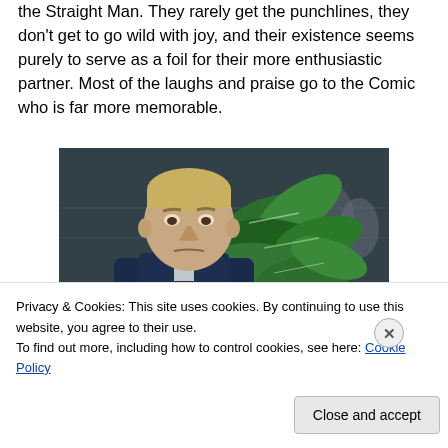the Straight Man. They rarely get the punchlines, they don't get to go wild with joy, and their existence seems purely to serve as a foil for their more enthusiastic partner. Most of the laughs and praise go to the Comic who is far more memorable.
[Figure (photo): A serious-looking man with short blond hair holding or standing behind a large green tropical plant, in what appears to be a subway or train interior setting.]
Privacy & Cookies: This site uses cookies. By continuing to use this website, you agree to their use. To find out more, including how to control cookies, see here: Cookie Policy